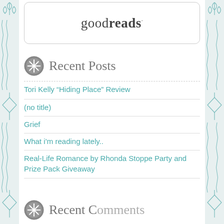[Figure (logo): Goodreads logo in a rounded rectangle widget]
Recent Posts
Tori Kelly “Hiding Place” Review
(no title)
Grief
What i’m reading lately..
Real-Life Romance by Rhonda Stoppe Party and Prize Pack Giveaway
Recent Comments